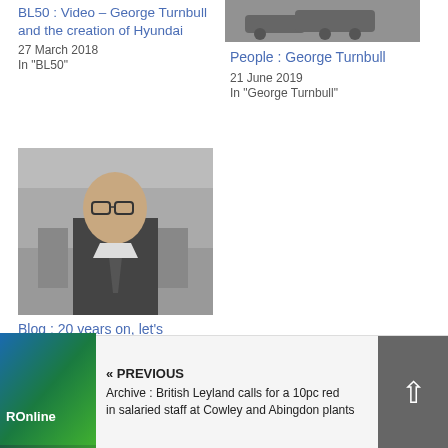[Figure (photo): Black and white photo of a man in suit and glasses in a factory/industrial setting]
BL50 : Video – George Turnbull and the creation of Hyundai
27 March 2018
In "BL50"
[Figure (photo): Black and white photo of cars, partial view at top right]
People : George Turnbull
21 June 2019
In "George Turnbull"
Blog : 20 years on, let's remember George Turnbull
14 December 2012
In "George Turnbull"
[Figure (logo): ROnline logo thumbnail - blue and green gradient]
« PREVIOUS
Archive : British Leyland calls for a 10pc red in salaried staff at Cowley and Abingdon plants